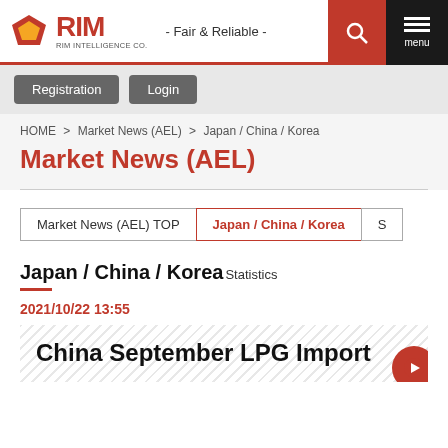RIM INTELLIGENCE CO. - Fair & Reliable -
Registration  Login
HOME > Market News (AEL) > Japan / China / Korea
Market News (AEL)
Market News (AEL) TOP  |  Japan / China / Korea  |  S
Japan / China / Korea Statistics
2021/10/22 13:55
China September LPG Import